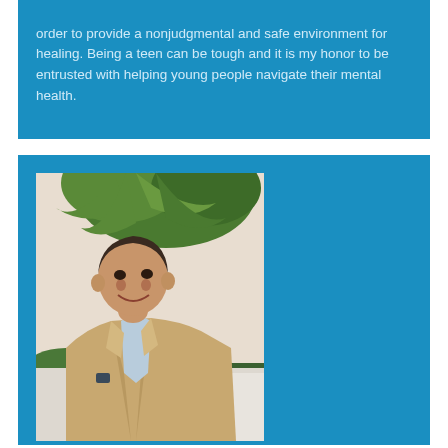order to provide a nonjudgmental and safe environment for healing. Being a teen can be tough and it is my honor to be entrusted with helping young people navigate their mental health.
[Figure (photo): Portrait photo of a smiling man in a tan/brown blazer with a light blue shirt, standing outdoors in front of palm trees and greenery.]